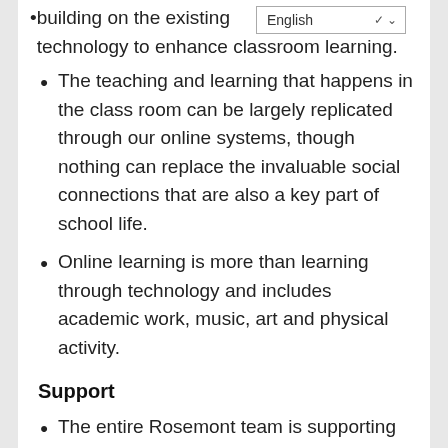building on the existing technology to enhance classroom learning.
The teaching and learning that happens in the class room can be largely replicated through our online systems, though nothing can replace the invaluable social connections that are also a key part of school life.
Online learning is more than learning through technology and includes academic work, music, art and physical activity.
Support
The entire Rosemont team is supporting our students.
in what is an unsettling time we are all available to support the girls to settle down to their work and achieve to their best.